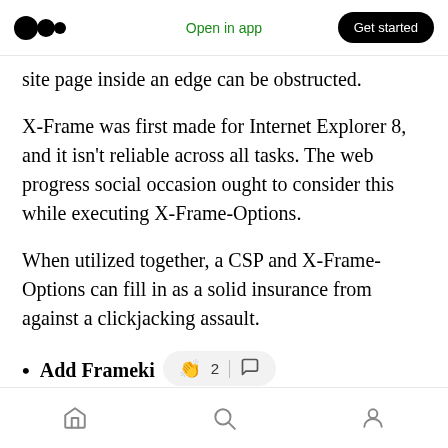Open in app | Get started
site page inside an edge can be obstructed.
X-Frame was first made for Internet Explorer 8, and it isn't reliable across all tasks. The web progress social occasion ought to consider this while executing X-Frame-Options.
When utilized together, a CSP and X-Frame-Options can fill in as a solid insurance from against a clickjacking assault.
Add Frameki
Home | Search | Profile